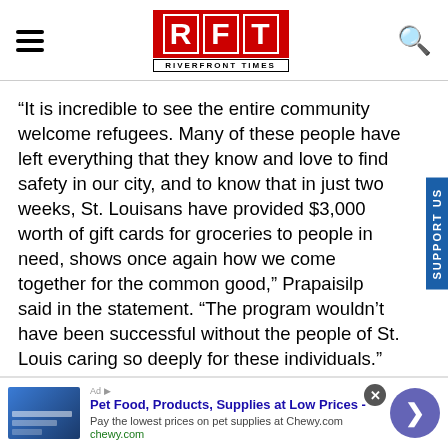RFT RIVERFRONT TIMES
“It is incredible to see the entire community welcome refugees. Many of these people have left everything that they know and love to find safety in our city, and to know that in just two weeks, St. Louisans have provided $3,000 worth of gift cards for groceries to people in need, shows once again how we come together for the common good,” Prapaisilp said in the statement. “The program wouldn’t have been successful without the people of St. Louis caring so deeply for these individuals.”
In order to participate in the program, shoppers can
[Figure (screenshot): Advertisement banner for Chewy.com: Pet Food, Products, Supplies at Low Prices - Pay the lowest prices on pet supplies at Chewy.com]